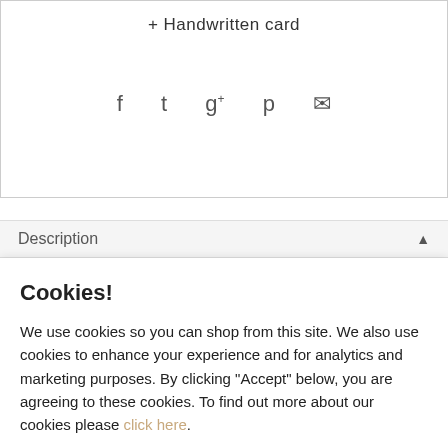+ Handwritten card
[Figure (other): Social media sharing icons: Facebook, Twitter, Google+, Pinterest, Email]
Description
Cookies!
We use cookies so you can shop from this site. We also use cookies to enhance your experience and for analytics and marketing purposes. By clicking "Accept" below, you are agreeing to these cookies. To find out more about our cookies please click here.
Accept
Decline